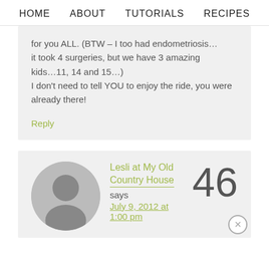HOME   ABOUT   TUTORIALS   RECIPES
for you ALL. (BTW – I too had endometriosis…it took 4 surgeries, but we have 3 amazing kids…11, 14 and 15…)
I don't need to tell YOU to enjoy the ride, you were already there!
Reply
Lesli at My Old Country House says July 9, 2012 at 1:00 pm
46